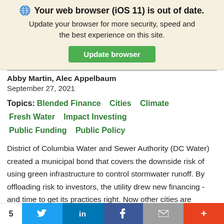[Figure (screenshot): Browser update notification banner with globe icon, bold text 'Your web browser (iOS 11) is out of date.', subtitle text, and green 'Update browser' button]
Abby Martin, Alec Appelbaum
September 27, 2021
Topics: Blended Finance   Cities   Climate   Fresh Water   Impact Investing   Public Funding   Public Policy
District of Columbia Water and Sewer Authority (DC Water) created a municipal bond that covers the downside risk of using green infrastructure to control stormwater runoff. By offloading risk to investors, the utility drew new financing -and time to get its practices right. Now other cities are following its lead.
[Figure (screenshot): Social sharing bar at bottom with share count 5, Twitter (blue), LinkedIn (blue), Facebook (dark blue), email (gray), and more (orange-red) buttons]